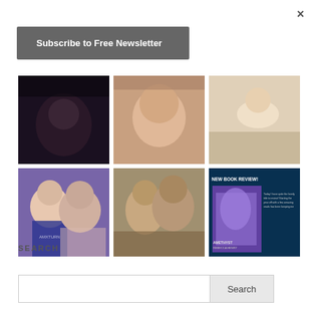×
Subscribe to Free Newsletter
[Figure (photo): Row of 3 photos cropped at top: dark background photo, pink/skin tones close-up, and light tones photo]
[Figure (photo): Row of 3 photos: couple selfie (woman and man with glasses in AMXTURN shirt), vintage sepia couple portrait, book review graphic for AMETHYST with NEW BOOK REVIEW! text]
SEARCH
Search